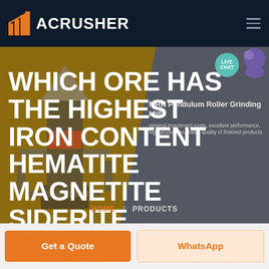ACRUSHER
WHICH ORE HAS THE HIGHEST IRON CONTENT HEMATITE MAGNETITE SIDERITE
MRN Pendulum Roller Grinding Mill
minimal investment costs, excellent performance, high production, stable quality of finished products
LIVE CHAT
HOME / PRODUCTS
Get a Quote
WhatsApp